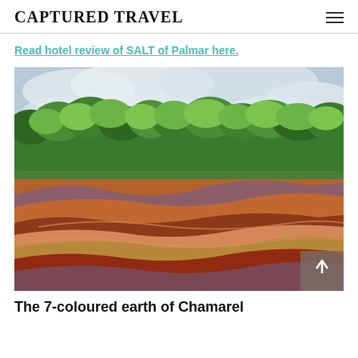CAPTURED TRAVEL
Read hotel review of SALT of Palmar here.
[Figure (photo): Photo of the 7-coloured earth of Chamarel, Mauritius — rolling hills of red, orange, purple, and brown layered earth in the foreground with dense green tropical trees in the background under an overcast sky.]
The 7-coloured earth of Chamarel